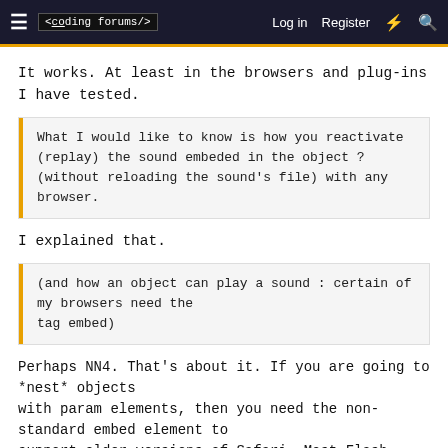≡  <coding forums/>   Log in   Register   ⚡   🔍
It works. At least in the browsers and plug-ins I have tested.
What I would like to know is how you reactivate (replay) the sound embeded in the object ? (without reloading the sound's file) with any browser.
I explained that.
(and how an object can play a sound : certain of my browsers need the
tag embed)
Perhaps NN4. That's about it. If you are going to *nest* objects
with param elements, then you need the non-standard embed element to
support older versions of Safari. Most Flash scripts wrap an object.